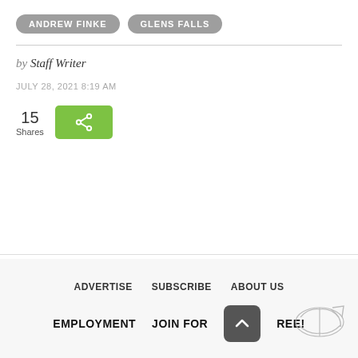ANDREW FINKE
GLENS FALLS
by Staff Writer
JULY 28, 2021 8:19 AM
15 Shares
[Figure (other): Green share button with share icon]
ADVERTISE   SUBSCRIBE   ABOUT US   EMPLOYMENT   JOIN FOR FREE!
[Figure (logo): Newspaper/scroll logo sketch in bottom right corner]
[Figure (other): Dark rounded back-to-top arrow button]